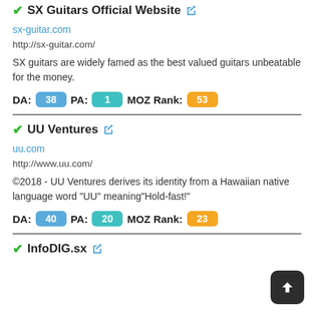SX Guitars Official Website
sx-guitar.com
http://sx-guitar.com/
SX guitars are widely famed as the best valued guitars unbeatable for the money.
DA: 38  PA: 1  MOZ Rank: 53
UU Ventures
uu.com
http://www.uu.com/
©2018 - UU Ventures derives its identity from a Hawaiian native language word "UU" meaning"Hold-fast!"
DA: 40  PA: 20  MOZ Rank: 23
InfoDIG.sx